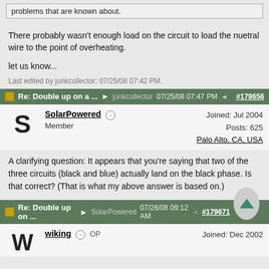problems that are known about.
There probably wasn't enough load on the circuit to load the nuetral wire to the point of overheating.
let us know...
Last edited by junkcollector; 07/25/08 07:42 PM.
Re: Double up on a ... junkcollector 07/25/08 07:47 PM #179656
SolarPowered Member Joined: Jul 2004 Posts: 625 Palo Alto, CA, USA
A clarifying question: It appears that you're saying that two of the three circuits (black and blue) actually land on the black phase. Is that correct? (That is what my above answer is based on.)
Re: Double up on ... SolarPowered 07/26/08 09:12 AM #179671
wiking OP Joined: Dec 2002